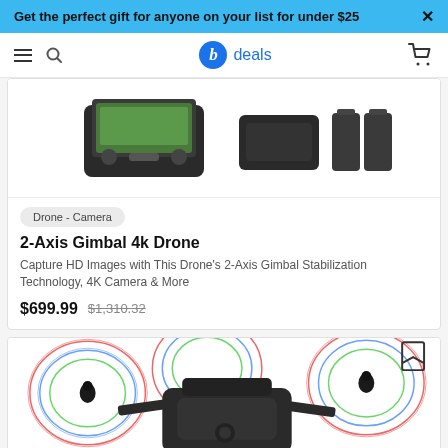Get the perfect gift for anyone on your list for under $25
[Figure (screenshot): Navigation bar with hamburger menu, search icon, Bezinga deals logo, and cart icon]
[Figure (photo): 2-Axis Gimbal 4k Drone product image with remote controller and spare batteries]
Drone - Camera
2-Axis Gimbal 4k Drone
Capture HD Images with This Drone's 2-Axis Gimbal Stabilization Technology, 4K Camera & More
$699.99 $1,310.32
[Figure (photo): Folded black drone with colorful circular motion blur rings on propellers, white bookmark icon top right]